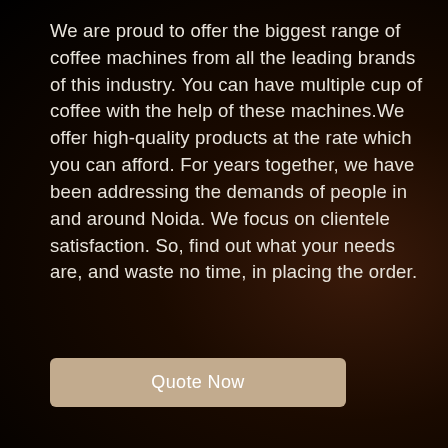We are proud to offer the biggest range of coffee machines from all the leading brands of this industry. You can have multiple cup of coffee with the help of these machines.We offer high-quality products at the rate which you can afford. For years together, we have been addressing the demands of people in and around Noida. We focus on clientele satisfaction. So, find out what your needs are, and waste no time, in placing the order.
Quote Now